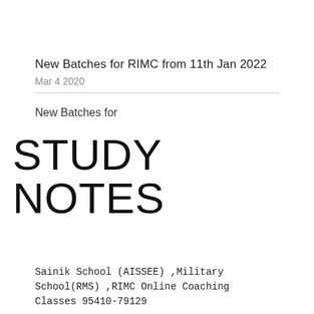New Batches for RIMC from 11th Jan 2022
Mar 4 2020
New Batches for
STUDY NOTES
Sainik School (AISSEE) ,Military School(RMS) ,RIMC Online Coaching Classes 95410-79129